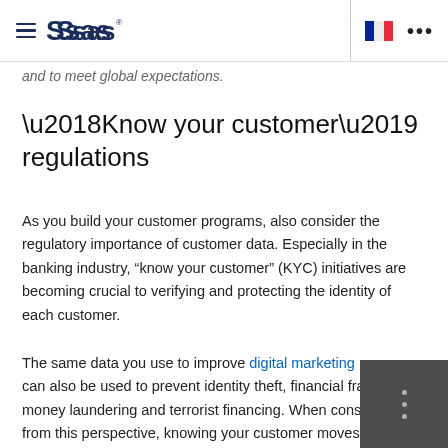SAS logo header with navigation icons
and to meet global expectations.
‘Know your customer’ regulations
As you build your customer programs, also consider the regulatory importance of customer data. Especially in the banking industry, “know your customer” (KYC) initiatives are becoming crucial to verifying and protecting the identity of each customer.
The same data you use to improve digital marketing programs can also be used to prevent identity theft, financial fraud, money laundering and terrorist financing. When considered from this perspective, knowing your customer moves beyond marketing to